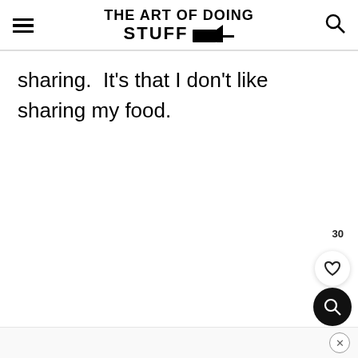THE ART OF DOING STUFF
sharing.  It's that I don't like sharing my food.